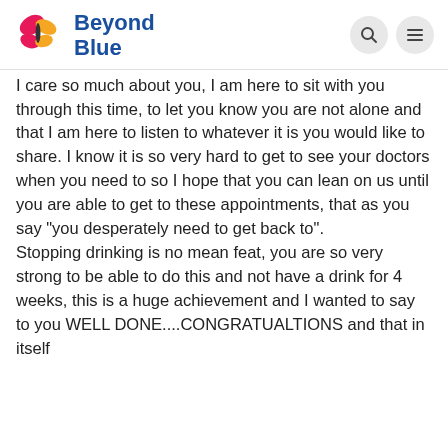[Figure (logo): Beyond Blue logo with butterfly icon (pink and yellow) and blue text 'Beyond Blue', with search and menu icons on the right]
I care so much about you, I am here to sit with you through this time, to let you know you are not alone and that I am here to listen to whatever it is you would like to share. I know it is so very hard to get to see your doctors when you need to so I hope that you can lean on us until you are able to get to these appointments, that as you say "you desperately need to get back to". Stopping drinking is no mean feat, you are so very strong to be able to do this and not have a drink for 4 weeks, this is a huge achievement and I wanted to say to you WELL DONE....CONGRATUALTIONS and that in itself